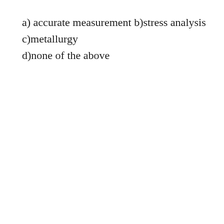a) accurate measurement b)stress analysis c)metallurgy d)none of the above